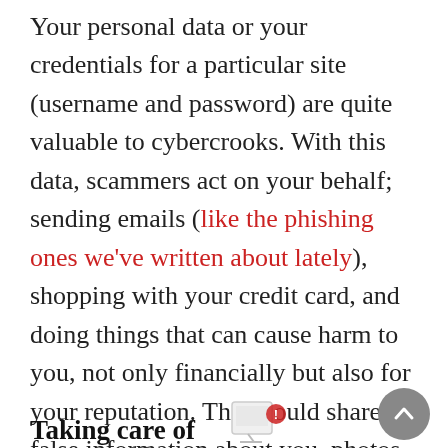Your personal data or your credentials for a particular site (username and password) are quite valuable to cybercrooks. With this data, scammers act on your behalf; sending emails (like the phishing ones we've written about lately), shopping with your credit card, and doing things that can cause harm to you, not only financially but also for your reputation. They could share false information about you, photos and personal data. This could led to problems when, for instance, you are looking for a new job, but also in your personal and family life.
Taking care of